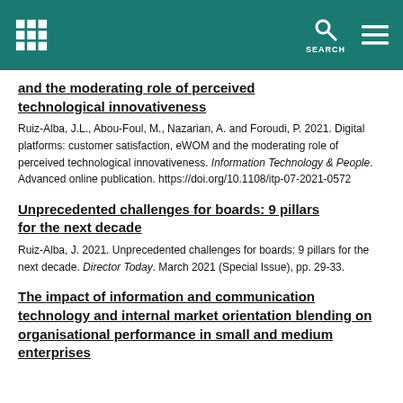[Grid logo] [Search icon] [Menu icon] SEARCH
and the moderating role of perceived technological innovativeness
Ruiz-Alba, J.L., Abou-Foul, M., Nazarian, A. and Foroudi, P. 2021. Digital platforms: customer satisfaction, eWOM and the moderating role of perceived technological innovativeness. Information Technology & People. Advanced online publication. https://doi.org/10.1108/itp-07-2021-0572
Unprecedented challenges for boards: 9 pillars for the next decade
Ruiz-Alba, J. 2021. Unprecedented challenges for boards: 9 pillars for the next decade. Director Today. March 2021 (Special Issue), pp. 29-33.
The impact of information and communication technology and internal market orientation blending on organisational performance in small and medium enterprises